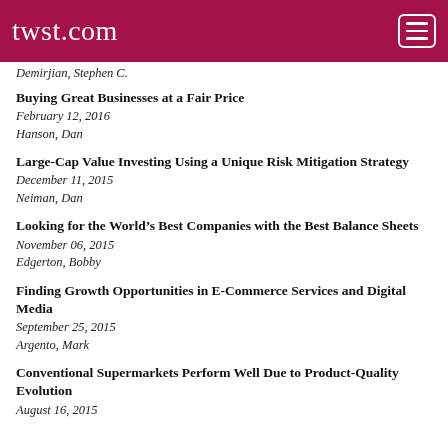twst.com
Demirjian, Stephen C.
Buying Great Businesses at a Fair Price
February 12, 2016
Hanson, Dan
Large-Cap Value Investing Using a Unique Risk Mitigation Strategy
December 11, 2015
Neiman, Dan
Looking for the World's Best Companies with the Best Balance Sheets
November 06, 2015
Edgerton, Bobby
Finding Growth Opportunities in E-Commerce Services and Digital Media
September 25, 2015
Argento, Mark
Conventional Supermarkets Perform Well Due to Product-Quality Evolution
August 16, 2015